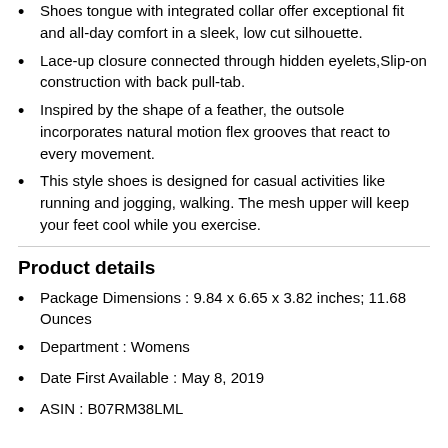Shoes tongue with integrated collar offer exceptional fit and all-day comfort in a sleek, low cut silhouette.
Lace-up closure connected through hidden eyelets,Slip-on construction with back pull-tab.
Inspired by the shape of a feather, the outsole incorporates natural motion flex grooves that react to every movement.
This style shoes is designed for casual activities like running and jogging, walking. The mesh upper will keep your feet cool while you exercise.
Product details
Package Dimensions : 9.84 x 6.65 x 3.82 inches; 11.68 Ounces
Department : Womens
Date First Available : May 8, 2019
ASIN : B07RM38LML